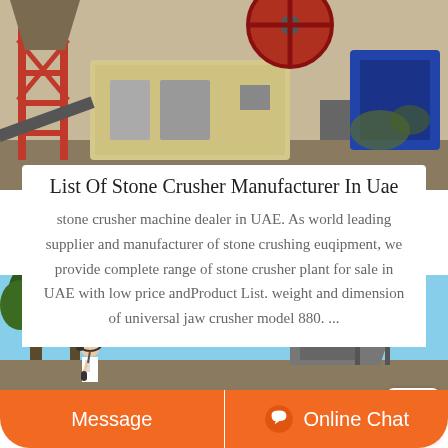[Figure (photo): Industrial stone crusher machinery with red metal framework and yellow crusher unit, outdoors on a job site.]
List Of Stone Crusher Manufacturer In Uae
stone crusher machine dealer in UAE. As world leading supplier and manufacturer of stone crushing euqipment, we provide complete range of stone crusher plant for sale in UAE with low price andProduct List. weight and dimension of universal jaw crusher model 880. ...
[Figure (photo): Stone crushing plant facility with blue sky, trees on the left and industrial hoppers/conveyors, with a customer service representative in foreground.]
Message
Online Chat